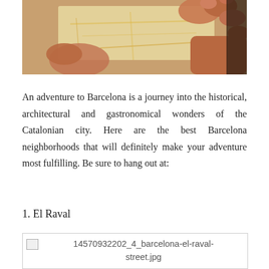[Figure (photo): Close-up photo of hands holding a map, with fingers visible and map details showing yellow and orange lines on a light background.]
An adventure to Barcelona is a journey into the historical, architectural and gastronomical wonders of the Catalonian city. Here are the best Barcelona neighborhoods that will definitely make your adventure most fulfilling. Be sure to hang out at:
1. El Raval
[Figure (photo): Broken image placeholder for: 14570932202_4_barcelona-el-raval-street.jpg]